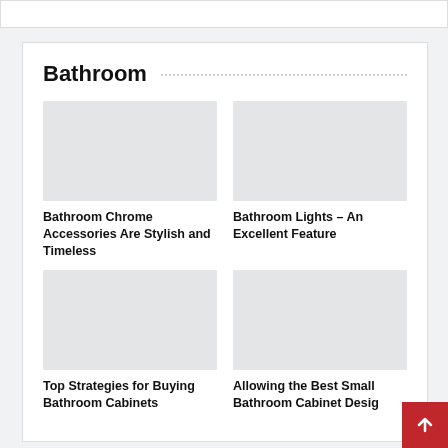Bathroom
[Figure (photo): Placeholder image for Bathroom Chrome Accessories article]
Bathroom Chrome Accessories Are Stylish and Timeless
[Figure (photo): Placeholder image for Bathroom Lights article]
Bathroom Lights – An Excellent Feature
[Figure (photo): Placeholder image for Top Strategies for Buying Bathroom Cabinets]
Top Strategies for Buying Bathroom Cabinets
[Figure (photo): Placeholder image for Allowing the Best Small Bathroom Cabinet Design]
Allowing the Best Small Bathroom Cabinet Desig